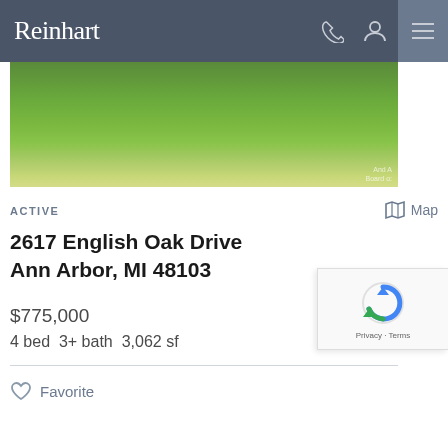Reinhart
[Figure (photo): Aerial or ground-level photo of a green lawn/yard area]
ACTIVE
Map
2617 English Oak Drive
Ann Arbor, MI 48103
$775,000
4 bed  3+ bath  3,062 sf
Favorite